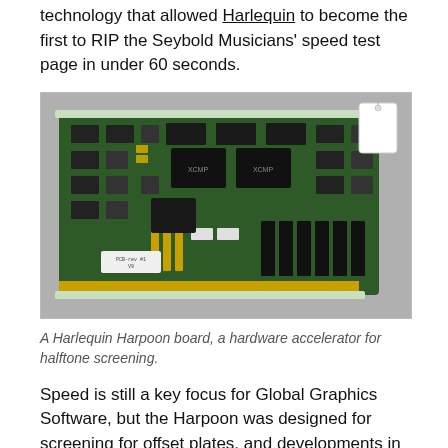technology that allowed Harlequin to become the first to RIP the Seybold Musicians' speed test page in under 60 seconds.
[Figure (photo): A Harlequin Harpoon circuit board (hardware accelerator for halftone screening), shown on a grey background with a white price tag hanging from the top-right corner. The PCB is green with numerous chips, connectors, and gold edge connectors.]
A Harlequin Harpoon board, a hardware accelerator for halftone screening.
Speed is still a key focus for Global Graphics Software, but the Harpoon was designed for screening for offset plates, and developments in chips and compilers by Intel, AMD, Microsoft and others, together with further